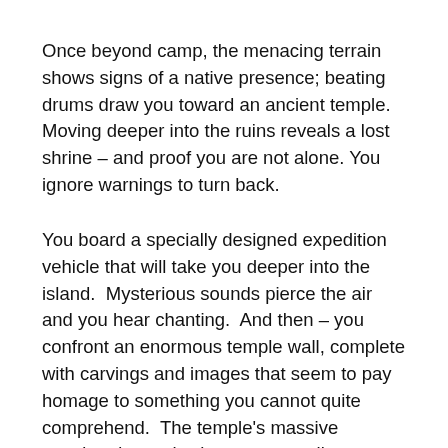Once beyond camp, the menacing terrain shows signs of a native presence; beating drums draw you toward an ancient temple. Moving deeper into the ruins reveals a lost shrine – and proof you are not alone. You ignore warnings to turn back.
You board a specially designed expedition vehicle that will take you deeper into the island.  Mysterious sounds pierce the air and you hear chanting.  And then – you confront an enormous temple wall, complete with carvings and images that seem to pay homage to something you cannot quite comprehend.  The temple's massive wooden doors slowly open, revealing a labyrinth of caves.
Inside the caves, you meet your expedition leader – and suddenly find yourself in the midst of a raging struggle between creatures of incomprehensible size and ferocity.  Then, as those creatures turn on you, there is an even more enormous, earth-pounding presence – bigger, closer and more overwhelming than you can